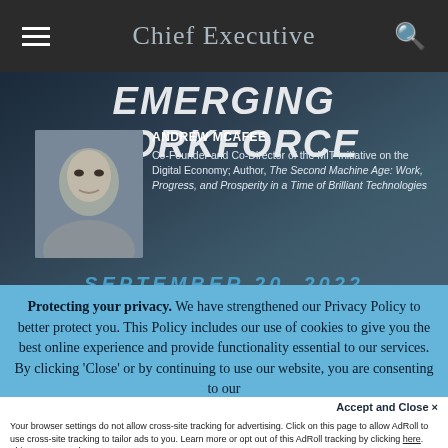Chief Executive
[Figure (photo): Event promotional image showing 'Emerging Workforce' text with speaker Andrew McAfee photo and biographical info against dark background. Speaker name: ANDREW MCAFEE, Co-Founder and Co-Director of the MIT Initiative on the Digital Economy; Author, The Second Machine Age: Work, Progress, and Prosperity in a Time of Brilliant Technologies. Date partially visible: SEPTEMBER 20, 2022]
Protecting your privacy. We have strengthened our Privacy Policy to better protect you. This Policy includes our use of cookies to give you the best online experience and provide functionality essential to our services. By clicking 'Close' or by continuing to use our website, you are consenting to our
Accept and Close ✕
Your browser settings do not allow cross-site tracking for advertising. Click on this page to allow AdRoll to use cross-site tracking to tailor ads to you. Learn more or opt out of this AdRoll tracking by clicking here. This message only appears once.